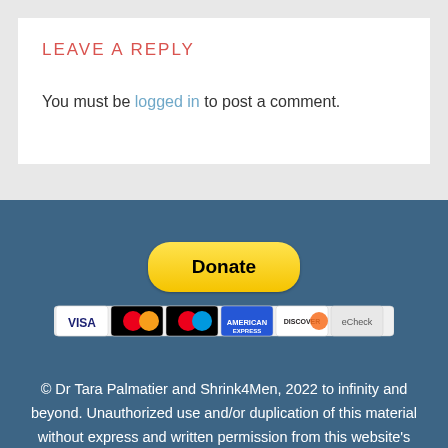LEAVE A REPLY
You must be logged in to post a comment.
[Figure (other): PayPal Donate button with payment card icons (Visa, Mastercard, Maestro, American Express, Discover, and another card)]
© Dr Tara Palmatier and Shrink4Men, 2022 to infinity and beyond. Unauthorized use and/or duplication of this material without express and written permission from this website's author and/or owner is strictly prohibited. Excerpts and links may be used, provided that full and clear credit is given to Dr Tara Palmatier and Shrink4Men with appropriate and specific